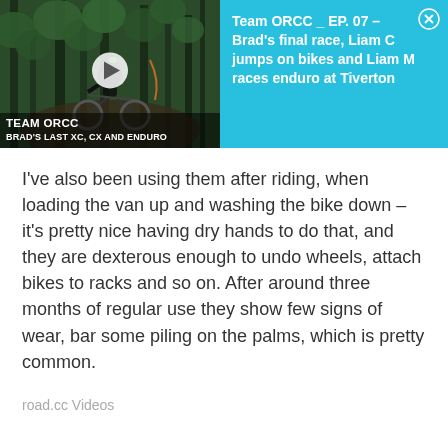[Figure (screenshot): Video thumbnail showing a mountain bike rider on a forest trail with play button overlay. Text overlay reads TEAM ORCC and BRAD'S LAST XC, CX AND ENDURO. To the right, cyan/teal background with video title: Team ORCC _ EP. 07 – Brad's final race, Liam C jumps on bikes and Liam M races enduro at Tiverton, with a close (X) button.]
I've also been using them after riding, when loading the van up and washing the bike down – it's pretty nice having dry hands to do that, and they are dexterous enough to undo wheels, attach bikes to racks and so on. After around three months of regular use they show few signs of wear, bar some piling on the palms, which is pretty common.
road.cc Videos